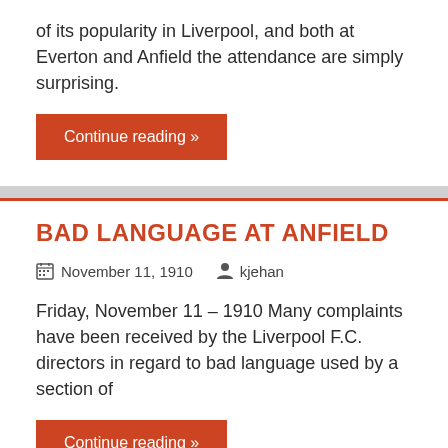of its popularity in Liverpool, and both at Everton and Anfield the attendance are simply surprising.
Continue reading »
BAD LANGUAGE AT ANFIELD
November 11, 1910   kjehan
Friday, November 11 – 1910 Many complaints have been received by the Liverpool F.C. directors in regard to bad language used by a section of
Continue reading »